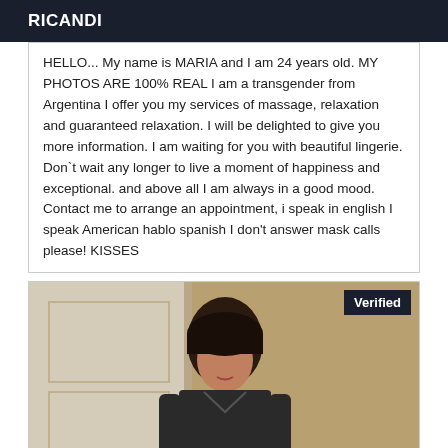RICANDI
HELLO... My name is MARIA and I am 24 years old. MY PHOTOS ARE 100% REAL I am a transgender from Argentina I offer you my services of massage, relaxation and guaranteed relaxation. I will be delighted to give you more information. I am waiting for you with beautiful lingerie. Don`t wait any longer to live a moment of happiness and exceptional. and above all I am always in a good mood. Contact me to arrange an appointment, i speak in english I speak American hablo spanish I don't answer mask calls please! KISSES
[Figure (photo): Photo of a person with dark hair wearing dark clothing, with a 'Verified' badge overlay in the top right corner]
Verified